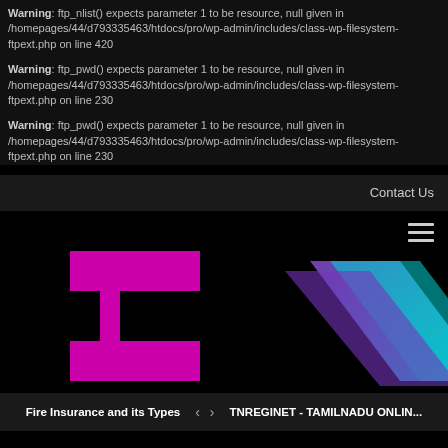Warning: ftp_nlist() expects parameter 1 to be resource, null given in /homepages/44/d793335463/htdocs/pro/wp-admin/includes/class-wp-filesystem-ftpext.php on line 420
Warning: ftp_pwd() expects parameter 1 to be resource, null given in /homepages/44/d793335463/htdocs/pro/wp-admin/includes/class-wp-filesystem-ftpext.php on line 230
Warning: ftp_pwd() expects parameter 1 to be resource, null given in /homepages/44/d793335463/htdocs/pro/wp-admin/includes/class-wp-filesystem-ftpext.php on line 230
Contact Us
[Figure (logo): Website logo with two geometric chevron/arrow shapes — one magenta/pink on the left, one purple-to-cyan gradient parallelogram on the right, on a black background]
Fire Insurance and its Types   <   >   TNREGINET - TAMILNADU ONLIN...